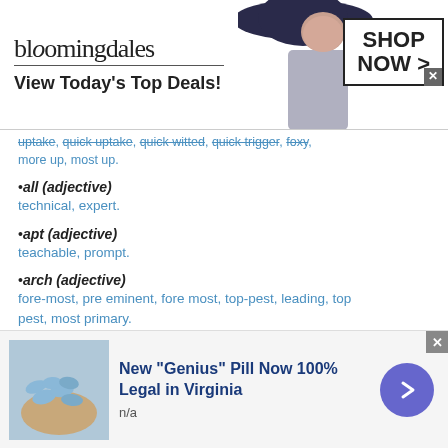[Figure (infographic): Bloomingdales advertisement banner: logo text 'bloomingdales', tagline 'View Today's Top Deals!', woman with hat image, 'SHOP NOW >' button box]
uptake, quick uptake, quick witted, quick trigger, foxy, more up, most up.
•all (adjective)
technical, expert.
•apt (adjective)
teachable, prompt.
•arch (adjective)
fore-most, pre eminent, fore most, top-pest, leading, top pest, most primary.
•artistic (adjective)
creative, elegant, masterful, graceful, sublime, tasteful
[Figure (infographic): Advertisement banner: pills image on left, headline 'New "Genius" Pill Now 100% Legal in Virginia', subtext 'n/a', purple circular arrow button on right]